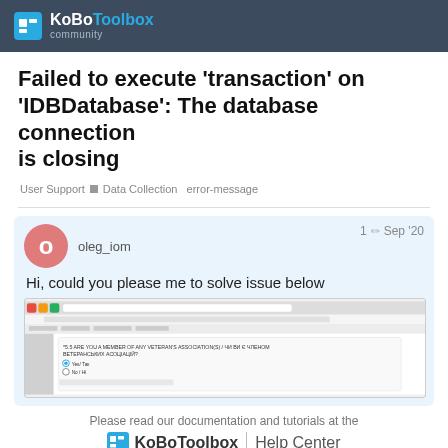KoBoToolbox community
Failed to execute ‘transaction’ on ‘IDBDatabase’: The database connection is closing
User Support ■ Data Collection error-message
oleg_iom 1 Sep ’20
Hi, could you please me to solve issue below
[Figure (screenshot): Browser screenshot showing a KoBoToolbox survey form with a question about veterans associations membership, with Yes/No radio button options.]
Please read our documentation and tutorials at the KoBoToolbox | Help Center